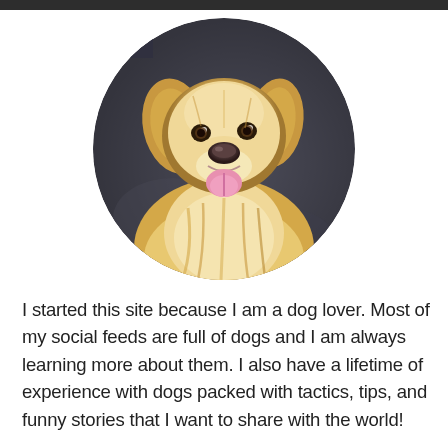[Figure (photo): A golden retriever dog smiling with tongue out, shown in a circular cropped photo. The dog has long golden fur and is looking at the camera happily against a blurred dark pavement background.]
I started this site because I am a dog lover. Most of my social feeds are full of dogs and I am always learning more about them. I also have a lifetime of experience with dogs packed with tactics, tips, and funny stories that I want to share with the world!